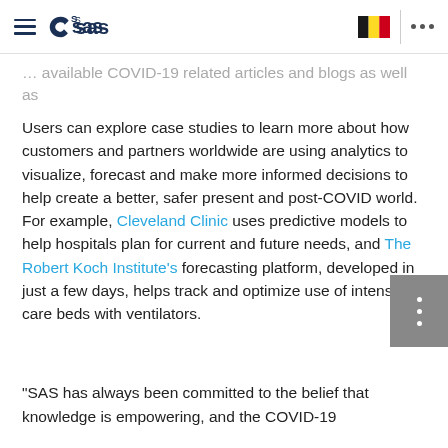SAS logo header with hamburger menu, Belgium flag, and navigation dots
…available COVID-19 related articles and blogs as well as SAS initiatives.
Users can explore case studies to learn more about how customers and partners worldwide are using analytics to visualize, forecast and make more informed decisions to help create a better, safer present and post-COVID world. For example, Cleveland Clinic uses predictive models to help hospitals plan for current and future needs, and The Robert Koch Institute's forecasting platform, developed in just a few days, helps track and optimize use of intensive care beds with ventilators.
“SAS has always been committed to the belief that knowledge is empowering, and the COVID-19